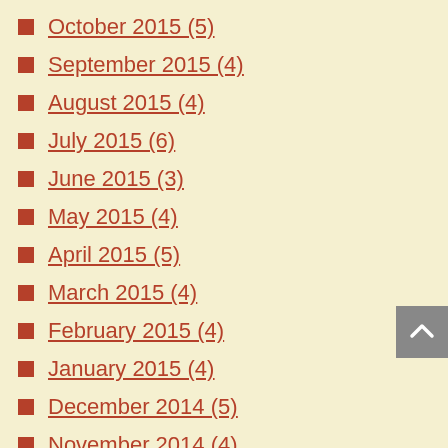October 2015 (5)
September 2015 (4)
August 2015 (4)
July 2015 (6)
June 2015 (3)
May 2015 (4)
April 2015 (5)
March 2015 (4)
February 2015 (4)
January 2015 (4)
December 2014 (5)
November 2014 (4)